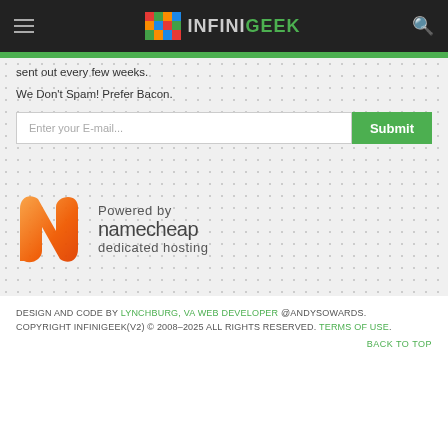INFINIGEEK
sent out every few weeks.
We Don't Spam! Prefer Bacon.
[Figure (other): Namecheap dedicated hosting banner with orange N logo and text 'Powered by namecheap dedicated hosting']
DESIGN AND CODE BY LYNCHBURG, VA WEB DEVELOPER @ANDYSOWARDS. COPYRIGHT INFINIGEEK(v2) © 2008–2025 ALL RIGHTS RESERVED. TERMS OF USE.